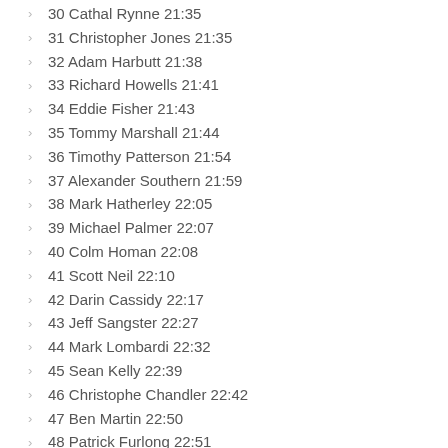30 Cathal Rynne 21:35
31 Christopher Jones 21:35
32 Adam Harbutt 21:38
33 Richard Howells 21:41
34 Eddie Fisher 21:43
35 Tommy Marshall 21:44
36 Timothy Patterson 21:54
37 Alexander Southern 21:59
38 Mark Hatherley 22:05
39 Michael Palmer 22:07
40 Colm Homan 22:08
41 Scott Neil 22:10
42 Darin Cassidy 22:17
43 Jeff Sangster 22:27
44 Mark Lombardi 22:32
45 Sean Kelly 22:39
46 Christophe Chandler 22:42
47 Ben Martin 22:50
48 Patrick Furlong 22:51
49 Deforest Evans 22:58
50 Rich Cumbers 23:02
51 Otis Ingham 23:03
52 John Thompson 23:05